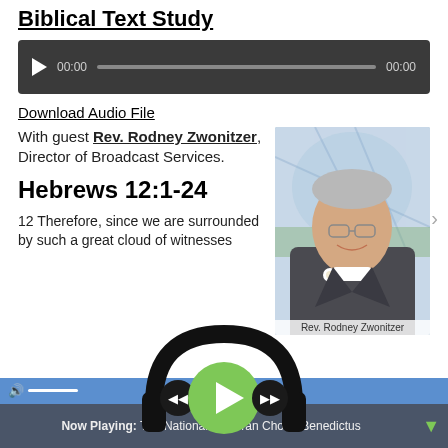Biblical Text Study
[Figure (screenshot): Audio player widget with play button, time display showing 00:00 / 00:00, and progress bar on dark background]
Download Audio File
With guest Rev. Rodney Zwonitzer, Director of Broadcast Services.
[Figure (photo): Photo of Rev. Rodney Zwonitzer, a smiling older man with glasses wearing clerical collar and suit with white boutonniere, with caption 'Rev. Rodney Zwonitzer']
Hebrews 12:1-24
12 Therefore, since we are surrounded by such a great cloud of witnesses
[Figure (screenshot): Media player bar at bottom with headphone icon, previous/next/play controls, blue accent bar, volume slider, and Now Playing: The National Lutheran Choir - Benedictus with dropdown arrow]